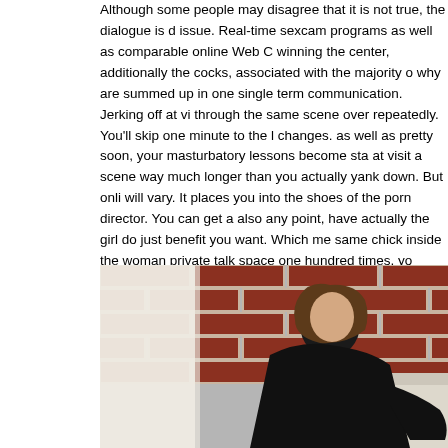Although some people may disagree that it is not true, the dialogue is d issue. Real-time sexcam programs as well as comparable online Web C winning the center, additionally the cocks, associated with the majority o why are summed up in one single term communication. Jerking off at vi through the same scene over repeatedly. You'll skip one minute to the l changes. as well as pretty soon, your masturbatory lessons become sta at visit a scene way much longer than you actually yank down. But onli will vary. It places you into the shoes of the porn director. You can get a also any point, have actually the girl do just benefit you want. Which me same chick inside the woman private talk space one hundred times, yo various fantasies. Web Cam bitches, as with clothes as well as toys, as abilities, merely have the freedom on you close or the side of ejaculatio or. It is an matchless encounter and/or amazing to Web Camera Demo
[Figure (photo): A young woman with brown hair wearing a black lace dress, sitting/reclining against a white sofa or couch with a red brick wall in the background.]